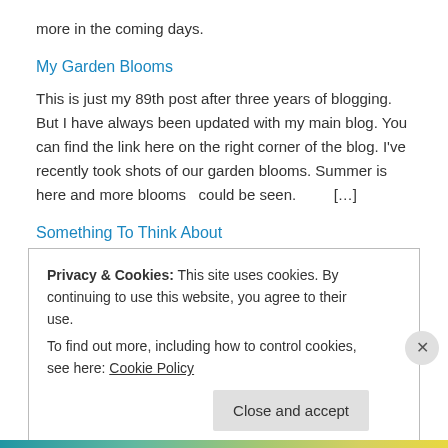more in the coming days.
My Garden Blooms
This is just my 89th post after three years of blogging. But I have always been updated with my main blog. You can find the link here on the right corner of the blog. I've recently took shots of our garden blooms. Summer is here and more blooms  could be seen.        […]
Something To Think About
I have a whole album of quotes that I made into memes. Some are passages from the Bible, some are words from famous people. This is one of them. Gosh, it took me so long to update this blog but I regularly post in my main blog, Dreams and Escapes. Good morning everyone 🙂
When The Sea Speaks
Privacy & Cookies: This site uses cookies. By continuing to use this website, you agree to their use.
To find out more, including how to control cookies, see here: Cookie Policy